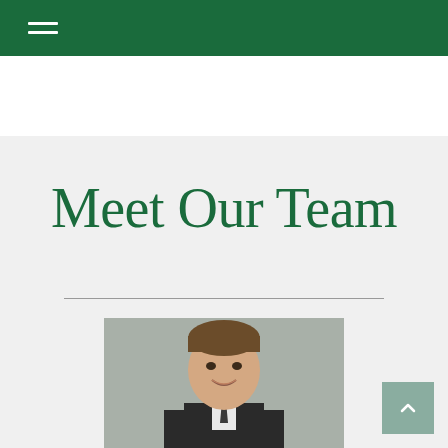Meet Our Team
[Figure (photo): Professional headshot of a smiling man in a dark suit against a gray background]